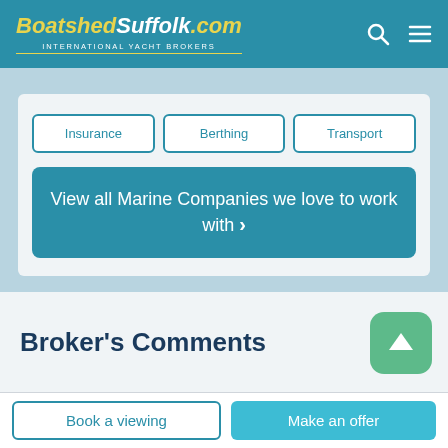BoatshedSuffolk.com INTERNATIONAL YACHT BROKERS
Insurance
Berthing
Transport
View all Marine Companies we love to work with ›
Broker's Comments
Book a viewing
Make an offer